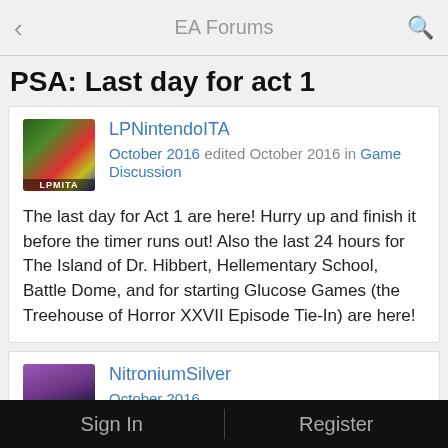EA Forums
PSA: Last day for act 1
LPNintendoITA
October 2016 edited October 2016 in Game Discussion

The last day for Act 1 are here! Hurry up and finish it before the timer runs out! Also the last 24 hours for The Island of Dr. Hibbert, Hellementary School, Battle Dome, and for starting Glucose Games (the Treehouse of Horror XXVII Episode Tie-In) are here!
NitroniumSilver
October 2016

Bring on act 2!
Sign In    Register